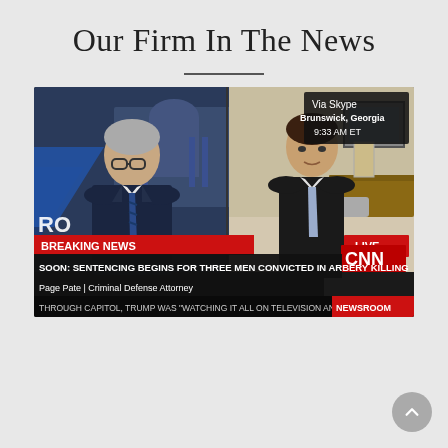Our Firm In The News
[Figure (screenshot): CNN screenshot showing a split-screen interview. Left side: older male anchor in studio wearing glasses and dark suit with striped tie, US Capitol visible in background. Right side: attorney Page Pate appearing via Skype from Brunswick, Georgia at 9:33 AM ET. Breaking News lower third reads: 'SOON: SENTENCING BEGINS FOR THREE MEN CONVICTED IN ARBERY KILLING'. Chyron shows 'Page Pate | Criminal Defense Attorney'. Bottom ticker reads: 'THROUGH CAPITOL, TRUMP WAS "WATCHING IT ALL ON TELEVISION AND DO... NEWSROOM'. CNN logo and LIVE banner visible.]